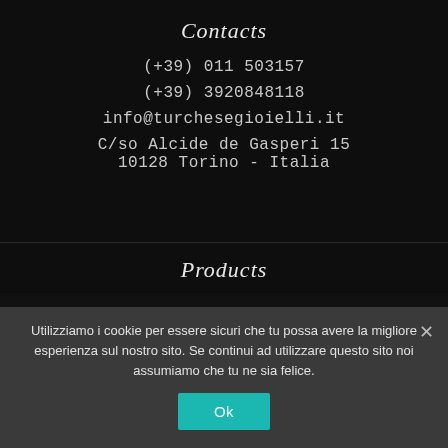Contacts
(+39) 011 503157
(+39) 3920848118
info@turchesegioielli.it
C/so Alcide de Gasperi 15
10128 Torino - Italia
Products
Utilizziamo i cookie per essere sicuri che tu possa avere la migliore esperienza sul nostro sito. Se continui ad utilizzare questo sito noi assumiamo che tu ne sia felice.